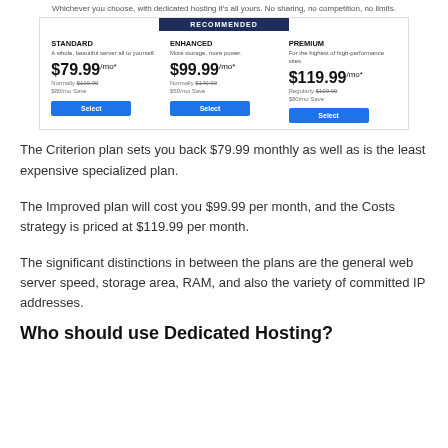Whichever you choose, with dedicated hosting it's all yours. No sharing, no competition, no limits.
[Figure (screenshot): Pricing table showing three dedicated hosting plans: Standard at $79.99/mo, Enhanced (Recommended) at $99.99/mo, and Premium at $119.99/mo, each with a Select button.]
The Criterion plan sets you back $79.99 monthly as well as is the least expensive specialized plan.
The Improved plan will cost you $99.99 per month, and the Costs strategy is priced at $119.99 per month.
The significant distinctions in between the plans are the general web server speed, storage area, RAM, and also the variety of committed IP addresses.
Who should use Dedicated Hosting?